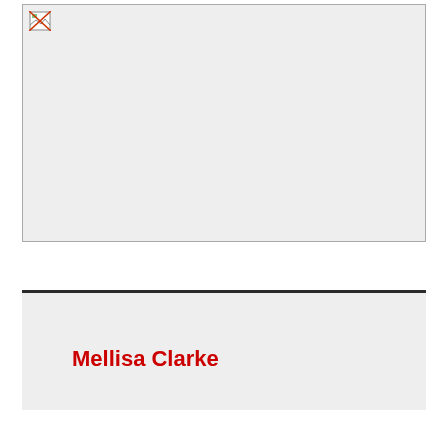[Figure (photo): Broken/missing image placeholder with a small broken image icon in the top-left corner. Large light gray rectangle representing an unloaded photo.]
Mellisa Clarke